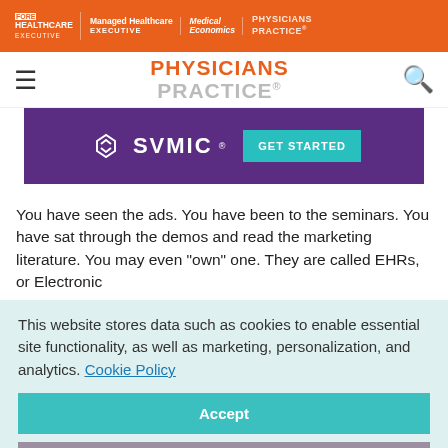HEALTHCARE EXECUTIVE | Managed Healthcare EXECUTIVE | Medical Economics | PHYSICIANS PRACTICE
[Figure (logo): Physicians Practice logo with hamburger menu and search icon]
[Figure (illustration): SVMIC advertisement banner with GET STARTED button on purple background]
You have seen the ads. You have been to the seminars. You have sat through the demos and read the marketing literature. You may even "own" one. They are called EHRs, or Electronic
This website stores data such as cookies to enable essential site functionality, as well as marketing, personalization, and analytics. Cookie Policy
Accept
Deny